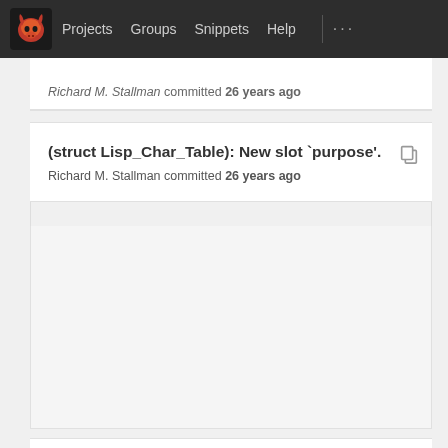Projects  Groups  Snippets  Help
Richard M. Stallman committed 26 years ago
(struct Lisp_Char_Table): New slot `purpose'.
Richard M. Stallman committed 26 years ago
(struct Lisp_Boolvector): New data type.
Richard M. Stallman committed 26 years ago